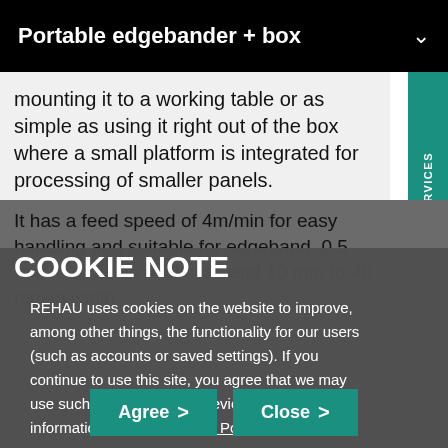Portable edgebander + box
mounting it to a working table or as simple as using it right out of the box where a small platform is integrated for processing of smaller panels.
It has a feed speed of 4m/min for easy handling and suitable for edgeband, 0.5 mm to 3 mm in thickness and 10 mm to 40 mm in width.
COOKIE NOTE
REHAU uses cookies on the website to improve, among other things, the functionality for our users (such as accounts or saved settings). If you continue to use this site, you agree that we may use such cookies on your device. For more information, see our Privacy Policy.
Agree > Close >